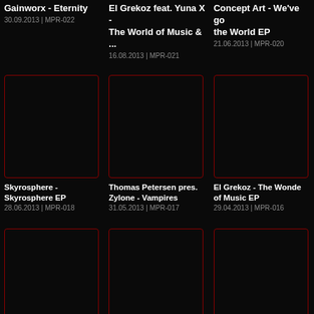Gainworx - Eternity
30.09.2013 | MPR-022
[Figure (illustration): Black album art placeholder with dark red border - Gainworx Eternity]
El Grekoz feat. Yuna X - The World of Music & ...
16.08.2013 | MPR-021
[Figure (illustration): Black album art placeholder with dark red border - El Grekoz feat. Yuna X]
Concept Art - We've go the World EP
21.06.2013 | MPR-020
[Figure (illustration): Black album art placeholder with dark red border - Concept Art]
Skyrosphere - Skyrosphere EP
28.06.2013 | MPR-018
[Figure (illustration): Black album art placeholder with dark red border - Skyrosphere]
Thomas Petersen pres. Zylone - Vampires
31.05.2013 | MPR-017
[Figure (illustration): Black album art placeholder with dark red border - Thomas Petersen]
El Grekoz - The Wonde of Music EP
29.04.2013 | MPR-016
[Figure (illustration): Black album art placeholder with dark red border - El Grekoz Wonder]
[Figure (illustration): Black album art placeholder with dark red border - row 3 item 1]
[Figure (illustration): Black album art placeholder with dark red border - row 3 item 2]
[Figure (illustration): Black album art placeholder with dark red border - row 3 item 3]